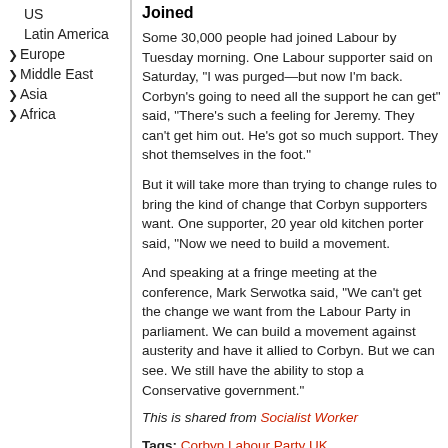US
Latin America
Europe
Middle East
Asia
Africa
Joined
Some 30,000 people had joined Labour by Tuesday morning. One Labour supporter said on Saturday, “I was purged—but now I’m back. Corbyn's going to need all the support he can get” said, “There's such a feeling for Jeremy. They can’t get him out. He’s got so much support. They shot themselves in the foot.”
But it will take more than trying to change rules to bring the kind of change that Corbyn supporters want. One supporter, 20 year old kitchen porter said, “Now we need to build a movement.
And speaking at a fringe meeting at the conference, Mark Serwotka said, “We can’t get the change we want from the Labour Party in parliament. We can build a movement against austerity and have it allied to Corbyn. But we can see. We still have the ability to stop a Conservative government.”
This is shared from Socialist Worker
Tags: Corbyn Labour Party UK
Section: Shared
Topics: Activism Strategy/tactics An
Geo Tags: Europe